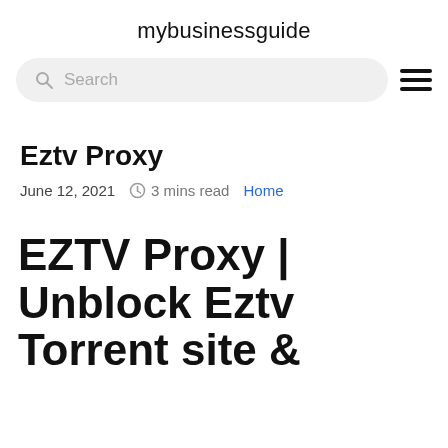mybusinessguide
Search
Eztv Proxy
June 12, 2021   3 mins read   Home
EZTV Proxy | Unblock Eztv Torrent site &